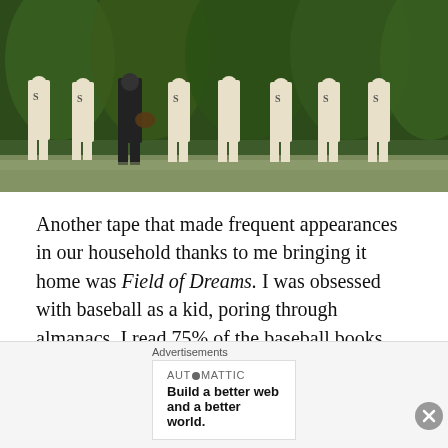[Figure (photo): Baseball players in old-fashioned uniforms with 'S' on their jerseys standing in front of a cornfield — a scene from Field of Dreams]
Another tape that made frequent appearances in our household thanks to me bringing it home was Field of Dreams. I was obsessed with baseball as a kid, poring through almanacs. I read 75% of the baseball books that the library carried. Field of Dreams was therefore right up my alley. I didn't really get at the time that it's mostly a movie about fathers and sons. I was
Advertisements
AUTOMATTIC
Build a better web and a better world.